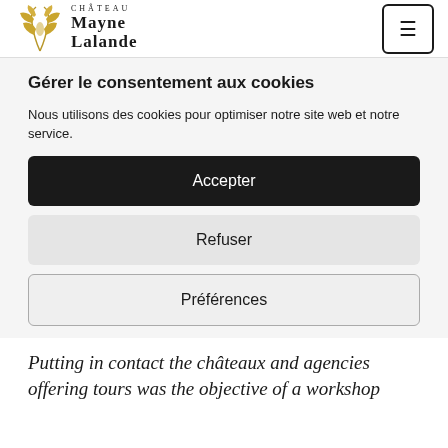[Figure (logo): Château Mayne Lalande logo with golden vine/leaf emblem on the left and stylized text on the right reading CHÂTEAU MAYNE LALANDE]
Gérer le consentement aux cookies
Nous utilisons des cookies pour optimiser notre site web et notre service.
Accepter
Refuser
Préférences
Putting in contact the châteaux and agencies offering tours was the objective of a workshop